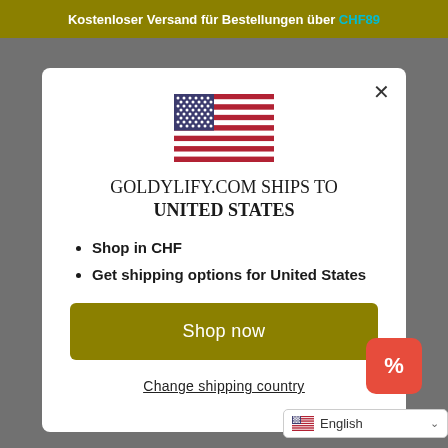Kostenloser Versand für Bestellungen über CHF89
[Figure (illustration): US flag icon centered in modal]
GOLDYLIFY.COM SHIPS TO UNITED STATES
Shop in CHF
Get shipping options for United States
Shop now
Change shipping country